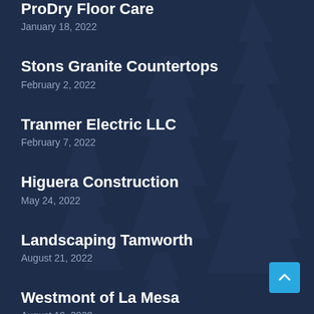ProDry Floor Care
January 18, 2022
Stons Granite Countertops
February 2, 2022
Tranmer Electric LLC
February 7, 2022
Higuera Construction
May 24, 2022
Landscaping Tamworth
August 21, 2022
Westmont of La Mesa
August 19, 2022